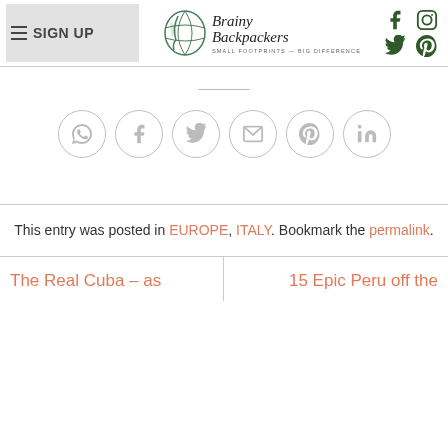SIGN UP — Brainy Backpackers — Small Footprints Big Difference
[Figure (infographic): Row of 6 social share buttons (WhatsApp, Facebook, Twitter, Email, Pinterest, LinkedIn) as grey outlined circles with icons]
This entry was posted in EUROPE, ITALY. Bookmark the permalink.
The Real Cuba – as
15 Epic Peru off the